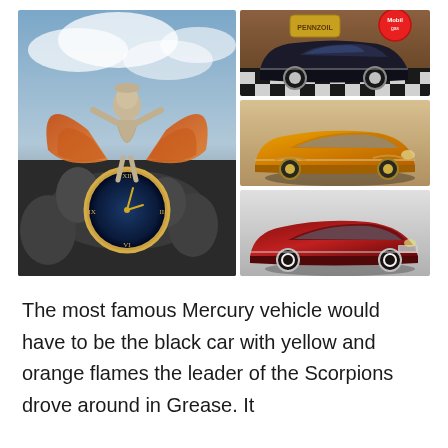[Figure (photo): Collage of four images: left large image shows a winged Mercury/angel statue atop a decorative clock with dramatic sky background; top right shows a black classic custom car (Mercury) on a checkered floor with Mobilgas sign; middle right shows a gold/yellow lowrider custom car; bottom right shows a dark red/maroon custom Mercury lowrider car.]
The most famous Mercury vehicle would have to be the black car with yellow and orange flames the leader of the Scorpions drove around in Grease. It